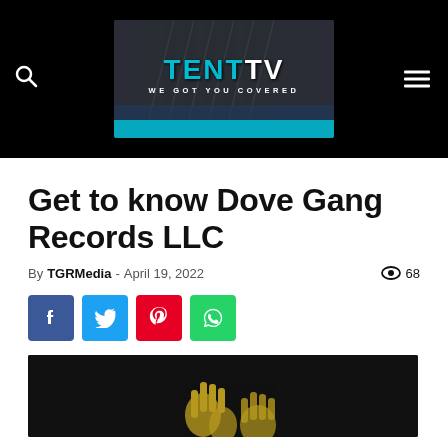TENT TV — WE GOT YOU COVERED
Get to know Dove Gang Records LLC
By TGRMedia - April 19, 2022   68
[Figure (illustration): Bottom image showing Dove Gang Records logo/artwork in yellow on dark background]
[Figure (logo): Tent TV logo on Brooklyn Bridge background with text WE GOT YOU COVERED]